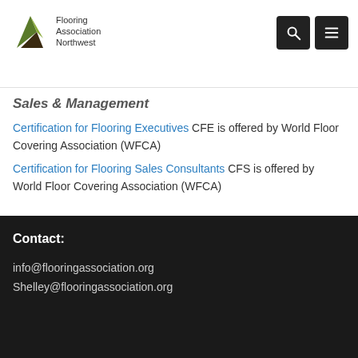[Figure (logo): Flooring Association Northwest logo with green/brown leaf icon and text]
Sales & Management
Certification for Flooring Executives CFE is offered by World Floor Covering Association (WFCA)
Certification for Flooring Sales Consultants CFS is offered by World Floor Covering Association (WFCA)
Contact:
info@flooringassociation.org
Shelley@flooringassociation.org